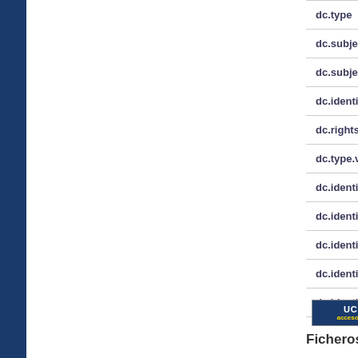| Field |
| --- |
| dc.type |
| dc.subject.ecien |
| dc.subject.ecien |
| dc.identifier.doi |
| dc.rights.access |
| dc.type.version |
| dc.identifier.publ |
| dc.identifier.publ |
| dc.identifier.publ |
| dc.identifier.publ |
| dc.identifier.uxxi |
[Figure (logo): UC3M acceso y más logo button]
Ficheros en el